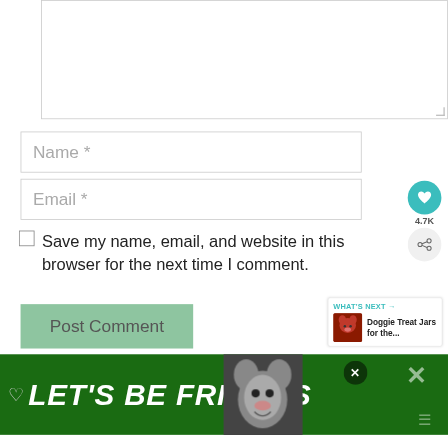[Figure (screenshot): Comment form textarea (empty, partially visible at top)]
Name *
Email *
[Figure (infographic): Heart/like button (teal circle with heart icon) showing 4.7K count, and share button below]
Save my name, email, and website in this browser for the next time I comment.
Post Comment
[Figure (infographic): What's Next panel showing 'Doggie Treat Jars for the...' with thumbnail]
[Figure (infographic): Green ad banner at bottom reading LET'S BE FRIENDS with dog illustration and close/share icons]